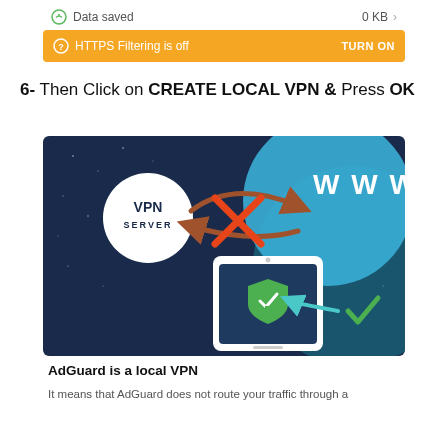[Figure (screenshot): App UI screenshot showing 'Data saved' row with 0 KB and an orange banner 'HTTPS Filtering is off' with TURN ON button]
6- Then Click on CREATE LOCAL VPN & Press OK
[Figure (illustration): AdGuard local VPN illustration: dark space background with VPN SERVER circle, red X, www bubble, smartphone with green shield and checkmark, teal arrow pointing left, green checkmark on right]
AdGuard is a local VPN
It means that AdGuard does not route your traffic through a